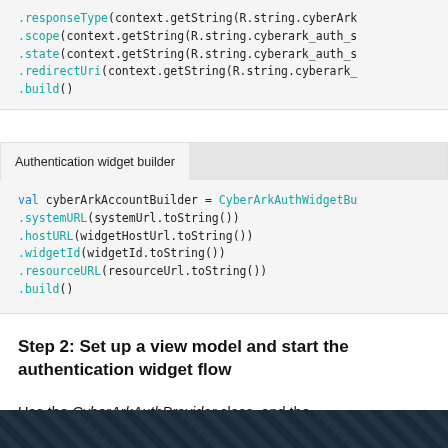[Figure (screenshot): Code block showing auth request builder chain: .responseType, .scope, .state, .redirectUri, .build()]
| Authentication widget builder |  |
| --- | --- |
[Figure (screenshot): Code block: val cyberArkAccountBuilder = CyberArkAuthWidgetBu... .systemURL(systemUrl.toString()) .hostURL(widgetHostUrl.toString()) .widgetId(widgetId.toString()) .resourceURL(resourceUrl.toString()) .build()]
Step 2: Set up a view model and start the authentication widget flow
Use the CyberArkAuthProvider class, and the